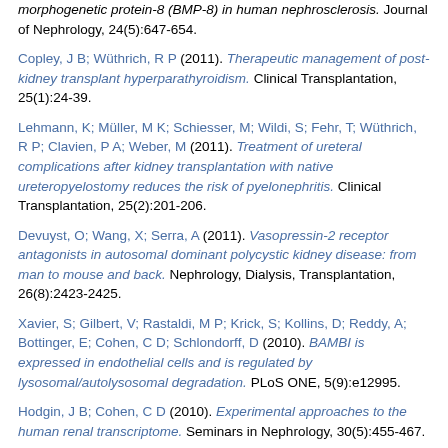morphogenetic protein-8 (BMP-8) in human nephrosclerosis. Journal of Nephrology, 24(5):647-654.
Copley, J B; Wüthrich, R P (2011). Therapeutic management of post-kidney transplant hyperparathyroidism. Clinical Transplantation, 25(1):24-39.
Lehmann, K; Müller, M K; Schiesser, M; Wildi, S; Fehr, T; Wüthrich, R P; Clavien, P A; Weber, M (2011). Treatment of ureteral complications after kidney transplantation with native ureteropyelostomy reduces the risk of pyelonephritis. Clinical Transplantation, 25(2):201-206.
Devuyst, O; Wang, X; Serra, A (2011). Vasopressin-2 receptor antagonists in autosomal dominant polycystic kidney disease: from man to mouse and back. Nephrology, Dialysis, Transplantation, 26(8):2423-2425.
Xavier, S; Gilbert, V; Rastaldi, M P; Krick, S; Kollins, D; Reddy, A; Bottinger, E; Cohen, C D; Schlondorff, D (2010). BAMBI is expressed in endothelial cells and is regulated by lysosomal/autolysosomal degradation. PLoS ONE, 5(9):e12995.
Hodgin, J B; Cohen, C D (2010). Experimental approaches to the human renal transcriptome. Seminars in Nephrology, 30(5):455-467.